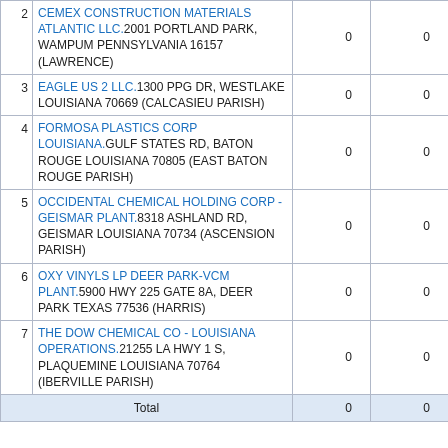| # | Facility | Col1 | Col2 |
| --- | --- | --- | --- |
| 2 | CEMEX CONSTRUCTION MATERIALS ATLANTIC LLC.2001 PORTLAND PARK, WAMPUM PENNSYLVANIA 16157 (LAWRENCE) | 0 | 0 |
| 3 | EAGLE US 2 LLC.1300 PPG DR, WESTLAKE LOUISIANA 70669 (CALCASIEU PARISH) | 0 | 0 |
| 4 | FORMOSA PLASTICS CORP LOUISIANA.GULF STATES RD, BATON ROUGE LOUISIANA 70805 (EAST BATON ROUGE PARISH) | 0 | 0 |
| 5 | OCCIDENTAL CHEMICAL HOLDING CORP - GEISMAR PLANT.8318 ASHLAND RD, GEISMAR LOUISIANA 70734 (ASCENSION PARISH) | 0 | 0 |
| 6 | OXY VINYLS LP DEER PARK-VCM PLANT.5900 HWY 225 GATE 8A, DEER PARK TEXAS 77536 (HARRIS) | 0 | 0 |
| 7 | THE DOW CHEMICAL CO - LOUISIANA OPERATIONS.21255 LA HWY 1 S, PLAQUEMINE LOUISIANA 70764 (IBERVILLE PARISH) | 0 | 0 |
| Total |  | 0 | 0 |